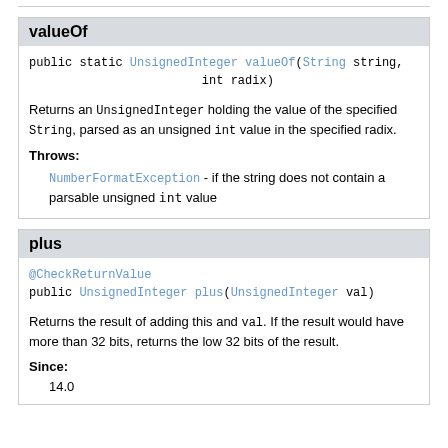valueOf
public static UnsignedInteger valueOf(String string,
                        int radix)
Returns an UnsignedInteger holding the value of the specified String, parsed as an unsigned int value in the specified radix.
Throws:
NumberFormatException - if the string does not contain a parsable unsigned int value
plus
@CheckReturnValue
public UnsignedInteger plus(UnsignedInteger val)
Returns the result of adding this and val. If the result would have more than 32 bits, returns the low 32 bits of the result.
Since:
14.0